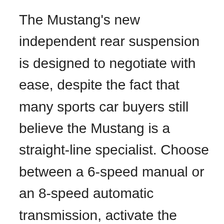The Mustang's new independent rear suspension is designed to negotiate with ease, despite the fact that many sports car buyers still believe the Mustang is a straight-line specialist. Choose between a 6-speed manual or an 8-speed automatic transmission, activate the launch control, and accelerate to 60 mph in 4.4 seconds. The Ford Mustang GT starts at $32,395, but it quickly becomes a $40k vehicle with all of the performance options.